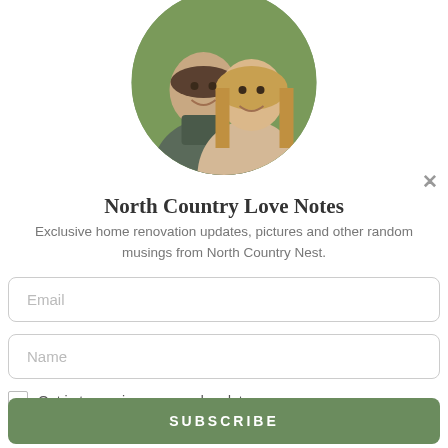[Figure (photo): Circular profile photo of a man and woman smiling outdoors with green background]
North Country Love Notes
Exclusive home renovation updates, pictures and other random musings from North Country Nest.
Email (input field placeholder)
Name (input field placeholder)
Opt in to receive news and updates.
SUBSCRIBE